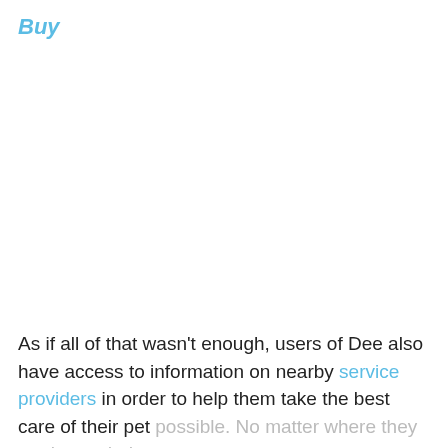Buy
As if all of that wasn't enough, users of Dee also have access to information on nearby service providers in order to help them take the best care of their pet possible. No matter where they are located, dog owners